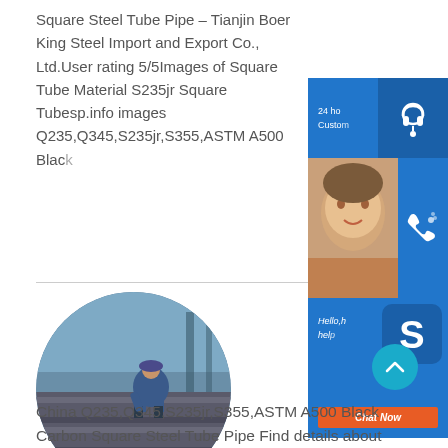Square Steel Tube Pipe – Tianjin Boer King Steel Import and Export Co., Ltd.User rating 5/5Images of Square Tube Material S235jr Square Tubesp.info images Q235,Q345,S235jr,S355,ASTM A500 Black…
[Figure (photo): Circular cropped photo of a worker in blue coveralls standing on stacked steel plates in an industrial warehouse]
[Figure (screenshot): Customer support sidebar widget with 24hr customer service icon (blue), phone/call icon (blue with partial face photo), and Skype icon with 'Hello, help' text and 'Chat Now' orange button]
[Figure (other): Teal scroll-to-top circular button with upward chevron arrow]
China Q235,Q345,S235jr,S355,ASTM A500 Black Carbon Square Steel Tube Pipe Find details about…